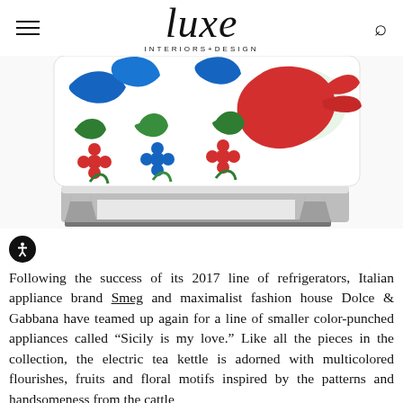luxe INTERIORS+DESIGN
[Figure (photo): Close-up of a Smeg x Dolce & Gabbana electric tea kettle showing colorful floral and folk art motifs in red, blue, green on white enamel with a chrome/silver base.]
Following the success of its 2017 line of refrigerators, Italian appliance brand Smeg and maximalist fashion house Dolce & Gabbana have teamed up again for a line of smaller color-punched appliances called “Sicily is my love.” Like all the pieces in the collection, the electric tea kettle is adorned with multicolored flourishes, fruits and floral motifs inspired by the patterns and handsomeness from the cattle...